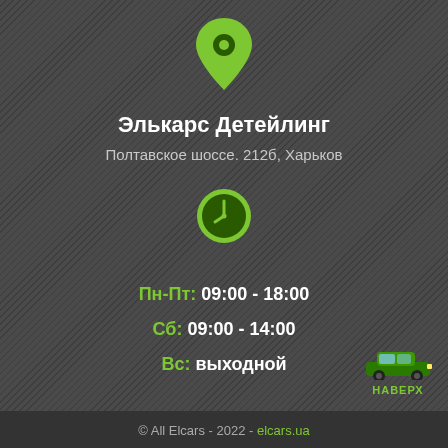[Figure (illustration): Green map location pin icon]
Элькарс Детейлинг
Полтавское шоссе. 212б, Харьков
[Figure (illustration): Green clock icon]
Пн-Пт: 09:00 - 18:00
Сб: 09:00 - 14:00
Вс: выходной
[Figure (illustration): Green car illustration with НАВЕРХ label]
© All Elcars - 2022 - elcars.ua